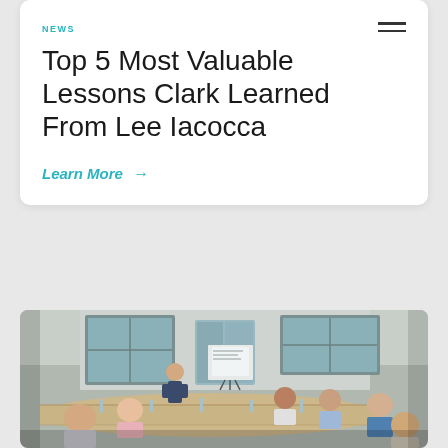NEWS
Top 5 Most Valuable Lessons Clark Learned From Lee Iacocca
Learn More →
[Figure (photo): A business meeting or seminar scene: a man in a blazer stands presenting at the front of a long conference table in a bright room with large windows. Seated around the table are approximately 8–10 attendees, some looking at the presenter and some at a display screen on a stand. The setting appears to be an upscale venue with white paneled walls.]